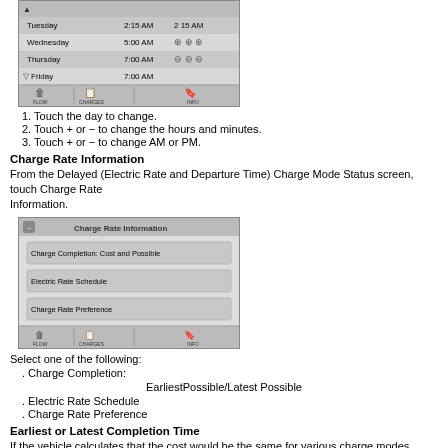[Figure (screenshot): UI screen showing schedule days (Tuesday 2:15 AM, Wednesday 5:00 AM, Thursday 7:00 AM, Friday 7:00 AM) with plus/minus controls and bottom nav bar (FLOW, CHARGES, INFO)]
1. Touch the day to change.
2. Touch + or − to change the hours and minutes.
3. Touch + or − to change AM or PM.
Charge Rate Information
From the Delayed (Electric Rate and Departure Time) Charge Mode Status screen, touch Charge Rate Information.
[Figure (screenshot): Charge Rate Information screen with three menu items: Charge Completion: EarliestPossible/Latest Possible, Electric Rate Schedule, Charge Rate Preference. Bottom nav bar with FLOW, CHARGES, INFO.]
Select one of the following:
. Charge Completion:
EarliestPossible/Latest Possible
. Electric Rate Schedule
. Charge Rate Preference
Earliest or Latest Completion Time
If the vehicle calculates that the cost would be the same for various charge modes based on